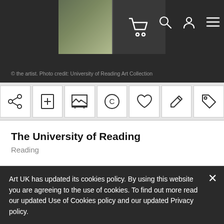[Figure (screenshot): Website header with dark background, partial image of artwork (greenery/landscape), shopping cart icon, search icon, user icon, and hamburger menu icon]
© the artist. Photo credit: University of Reading Art Collection
[Figure (infographic): Toolbar with 7 icon buttons: share, add document, image/picture, copyright, heart/favourite, edit/pencil, tag]
The University of Reading
Reading
Art UK has updated its cookies policy. By using this website you are agreeing to the use of cookies. To find out more read our updated Use of Cookies policy and our updated Privacy policy.